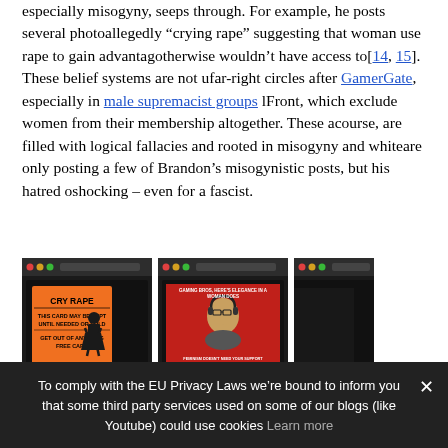especially misogyny, seeps through. For example, he posts several photos allegedly "crying rape" suggesting that woman use rape to gain advantages they otherwise wouldn't have access to[14, 15]. These belief systems are not uncommon in far-right circles after GamerGate, especially in male supremacist groups like the Proud Front, which exclude women from their membership altogether. These arguments, of course, are filled with logical fallacies and rooted in misogyny and white supremacy. We are only posting a few of Brandon's misogynistic posts, but his hatred of women is shocking – even for a fascist.
[Figure (screenshot): Three screenshots of social media posts containing misogynistic memes, shown side by side. First shows an orange 'CRY RAPE' card meme. Second shows a red-background video thumbnail with a person wearing headphones. Third is partially visible.]
To comply with the EU Privacy Laws we're bound to inform you that some third party services used on some of our blogs (like Youtube) could use cookies Learn more